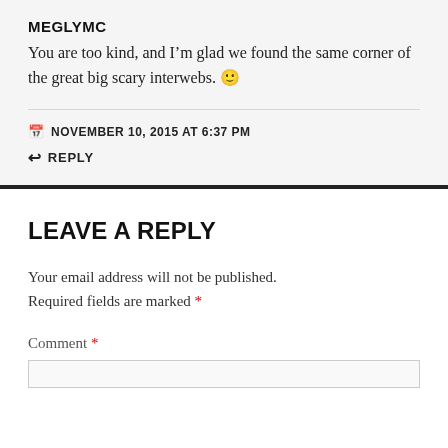MEGLYMC
You are too kind, and I'm glad we found the same corner of the great big scary interwebs. 🙂
NOVEMBER 10, 2015 AT 6:37 PM
REPLY
LEAVE A REPLY
Your email address will not be published. Required fields are marked *
Comment *